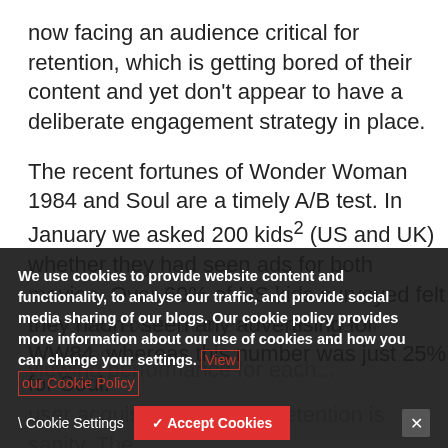now facing an audience critical for retention, which is getting bored of their content and yet don't appear to have a deliberate engagement strategy in place.
The recent fortunes of Wonder Woman 1984 and Soul are a timely A/B test. In January we asked 200 kids² (US and UK) whether they had seen ads for both movies. Over 60% of US kids surveyed felt they hadn't seen any advertising for WW84, whereas this number was just 25% for Soul.
Although exact figures haven't been released an...
viewing performance for each...
user acquisition is vanity, retention is sanity. The
We use cookies to provide website content and functionality, to analyse our traffic, and provide social media sharing of our blogs. Our cookie policy provides more information about our use of cookies and how you can change your settings. View our Cookie Policy
Cookie Settings   Accept Cookies